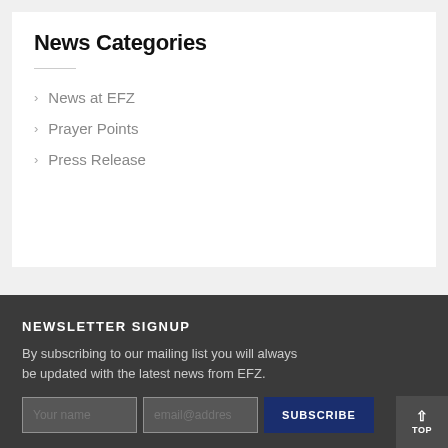News Categories
News at EFZ
Prayer Points
Press Release
NEWSLETTER SIGNUP
By subscribing to our mailing list you will always be updated with the latest news from EFZ.